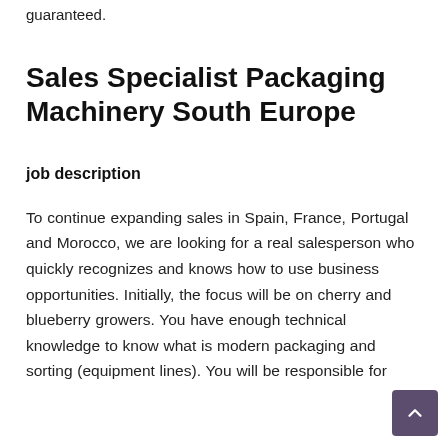guaranteed.
Sales Specialist Packaging Machinery South Europe
job description
To continue expanding sales in Spain, France, Portugal and Morocco, we are looking for a real salesperson who quickly recognizes and knows how to use business opportunities. Initially, the focus will be on cherry and blueberry growers. You have enough technical knowledge to know what is modern packaging and sorting (equipment lines). You will be responsible for